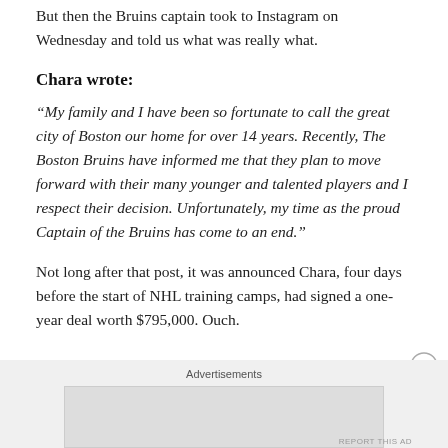But then the Bruins captain took to Instagram on Wednesday and told us what was really what.
Chara wrote:
“My family and I have been so fortunate to call the great city of Boston our home for over 14 years. Recently, The Boston Bruins have informed me that they plan to move forward with their many younger and talented players and I respect their decision. Unfortunately, my time as the proud Captain of the Bruins has come to an end.”
Not long after that post, it was announced Chara, four days before the start of NHL training camps, had signed a one-year deal worth $795,000. Ouch.
Advertisements